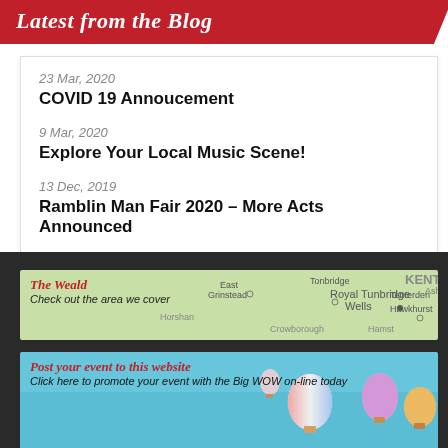Latest from the Blog
23 Mar, 2020 — COVID 19 Annoucement
9 Mar, 2020 — Explore Your Local Music Scene!
13 Dec, 2019 — Ramblin Man Fair 2020 – More Acts Announced
[Figure (map): Map of The Weald region showing East Grinstead, Royal Tunbridge Wells, Tenterden, Hawkhurst, Kent, Ashford area with text 'The Weald - Check out the area we cover']
[Figure (photo): Hot air balloons in blue sky with text 'Post your event to this website - Click here to promote your event with the Big WOW on-line today']